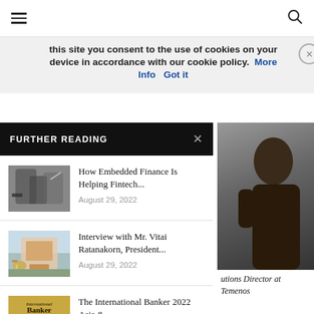≡  🔍
this site you consent to the use of cookies on your device in accordance with our cookie policy.  More Info    Got it
FURTHER READING
[Figure (photo): Photo of person with phone, finance context]
How Embedded Finance Is Helping Fintech...
August 29, 2022
[Figure (photo): Photo of a building with pink/white architecture]
Interview with Mr. Vitai Ratanakorn, President...
August 29, 2022
[Figure (photo): International Banker 2022 award logo on gold background]
The International Banker 2022 Asia &...
August 29, 2022
utions Director at Temenos